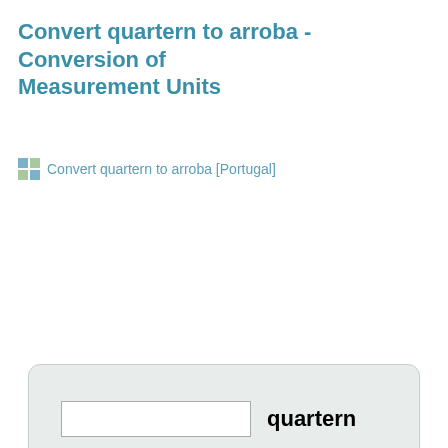Convert quartern to arroba - Conversion of Measurement Units
Convert quartern to arroba [Portugal]
[Figure (other): Unit converter form with two input fields labeled 'quartern' and 'arroba', and a Convert button, inside a rounded gray box]